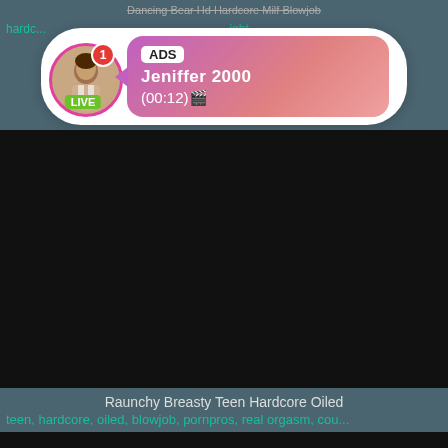Dancing Bear Hd Hardcore Milf Blowjob
hardcore ... ight ...
[Figure (photo): Ad overlay popup with avatar of a woman (LIVE badge, notification badge showing 1), pink gradient content box showing ADS label, name Jeniffer 2000, time (00:12)]
[Figure (screenshot): Black video player area with HD badge bottom-left and 5 min duration badge bottom-right]
Raunchy Breasty Teen Hardcore Oiled
teen, hardcore, oiled, blowjob, pornpros, real orgasm, cou...
[Figure (screenshot): Second black video player area at bottom of page]